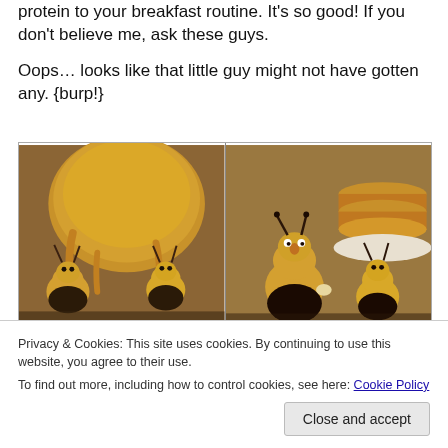protein to your breakfast routine. It's so good! If you don't believe me, ask these guys.
Oops… looks like that little guy might not have gotten any. {burp!}
[Figure (photo): Two photos side by side of bee-shaped food figures made from dough/pastry. Left image shows bee figures clustered around a large mound of caramel/peanut butter sauce. Right image shows bee figures with one appearing surprised next to stacked pancakes.]
Privacy & Cookies: This site uses cookies. By continuing to use this website, you agree to their use.
To find out more, including how to control cookies, see here: Cookie Policy
Close and accept